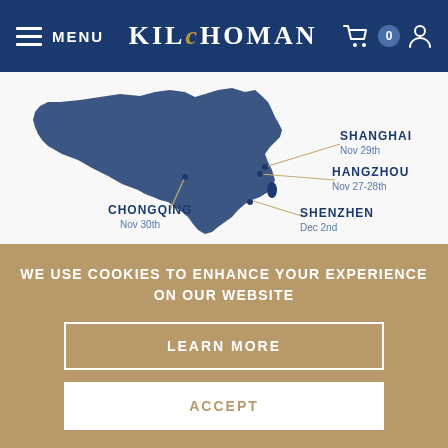MENU | KILCHOMAN | 0
[Figure (map): Map of China showing tour stop cities: Shanghai (Nov 29th), Hangzhou (Nov 27-28th), Chongqing (Nov 30th), Shenzhen (Dec 2nd), with connecting lines from city centers to labels.]
As with previous tours, a special Cask Strength bottling of Machir Bay has been created which will be available from selected shops and bars during the
WE USE COOKIES TO ENHANCE YOUR EXPERIENCE ON OUR WEBSITE
LEARN MORE
ACCEPT